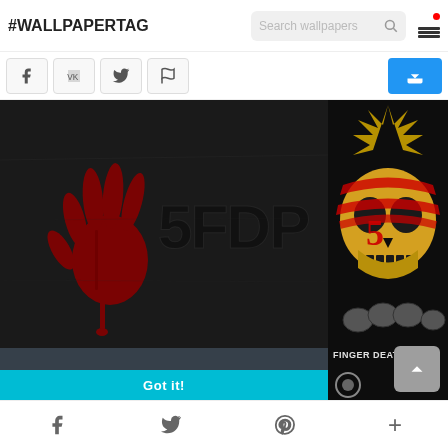#WALLPAPERTAG
[Figure (screenshot): Website screenshot showing wallpaper site with SFDP (Five Finger Death Punch) dark wallpaper featuring red handprint and 5FDP logo, with skull artwork on right, cookie consent banner overlay, and social media share buttons]
This website uses cookies. Learn more
Got it!
Facebook Twitter Pinterest +